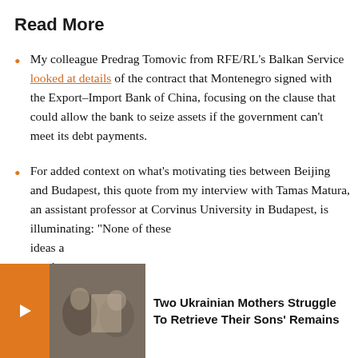Read More
My colleague Predrag Tomovic from RFE/RL's Balkan Service looked at details of the contract that Montenegro signed with the Export–Import Bank of China, focusing on the clause that could allow the bank to seize assets if the government can't meet its debt payments.
For added context on what's motivating ties between Beijing and Budapest, this quote from my interview with Tamas Matura, an assistant professor at Corvinus University in Budapest, is illuminating: "None of these ideas a... coming... course,
[Figure (screenshot): Overlay widget showing orange arrow button, video thumbnail of two people, and text 'Two Ukrainian Mothers Struggle To Retrieve Their Sons' Remains']